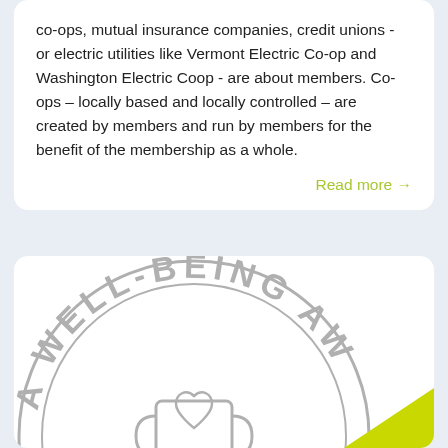co-ops, mutual insurance companies, credit unions - or electric utilities like Vermont Electric Co-op and Washington Electric Coop - are about members. Co-ops – locally based and locally controlled – are created by members and run by members for the benefit of the membership as a whole.
Read more →
[Figure (logo): Circular badge/seal showing 'A WELL-BEING AW...' text around the edge with a trophy/shield icon containing a heart in the center, rendered in gray outline style. Partially cropped. A yellow-green triangle appears in the bottom-right corner.]